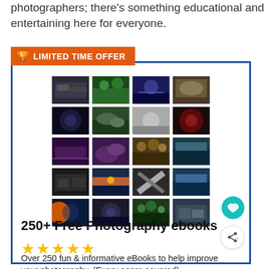photographers; there's something educational and entertaining here for everyone.
LIMITED TIME OFFER
[Figure (photo): Grid of 20 photography ebook cover thumbnails arranged in 5 rows and 4 columns, showing various photography genres including landscapes, nature, portraits, and abstract images.]
250+ Free Photography ebooks
★★★★★
Over 250 fun & informative eBooks to help improve your photography. (Every genre covered)